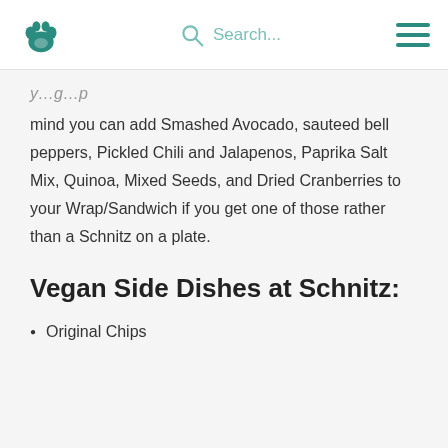Search...
mind you can add Smashed Avocado, sauteed bell peppers, Pickled Chili and Jalapenos, Paprika Salt Mix, Quinoa, Mixed Seeds, and Dried Cranberries to your Wrap/Sandwich if you get one of those rather than a Schnitz on a plate.
Vegan Side Dishes at Schnitz:
Original Chips